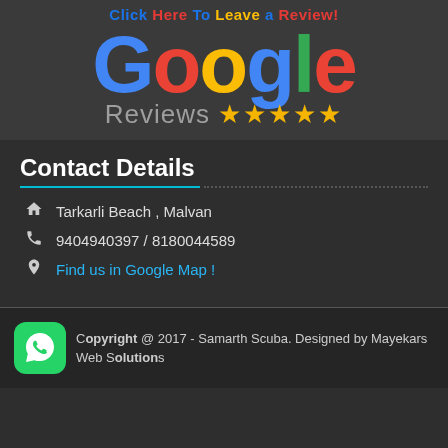[Figure (logo): Google Reviews logo with 5 gold stars and 'Click Here To Leave a Review!' text above]
Contact Details
Tarkarli Beach , Malvan
9404940397 / 8180044589
Find us in Google Map !
Copyright @ 2017 - Samarth Scuba. Designed by Mayekars Web Solutions